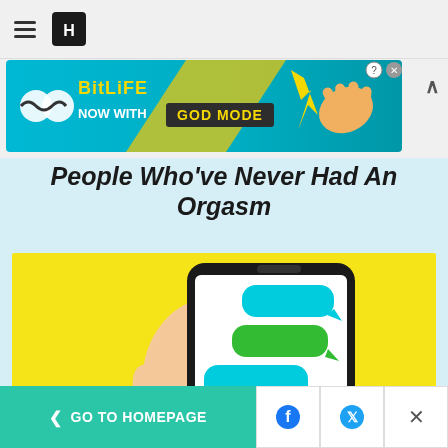Huffington Post navigation header with hamburger menu and logo
[Figure (screenshot): BitLife advertisement banner: 'NOW WITH GOD MODE' with pointing hand graphic on teal/orange gradient background]
People Who've Never Had An Orgasm
[Figure (illustration): Illustration of a hand with red-painted nails holding a smartphone displaying colorful chat message bubbles (cyan and green) on a yellow background]
RELATIONSHIPS
< GO TO HOMEPAGE | Facebook share | Twitter share | Close